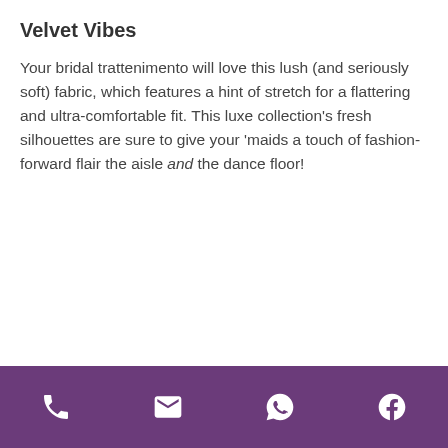Velvet Vibes
Your bridal trattenimento will love this lush (and seriously soft) fabric, which features a hint of stretch for a flattering and ultra-comfortable fit. This luxe collection’s fresh silhouettes are sure to give your ‘maids a touch of fashion-forward flair the aisle and the dance floor!
Footer bar with phone, email, WhatsApp, and Facebook icons